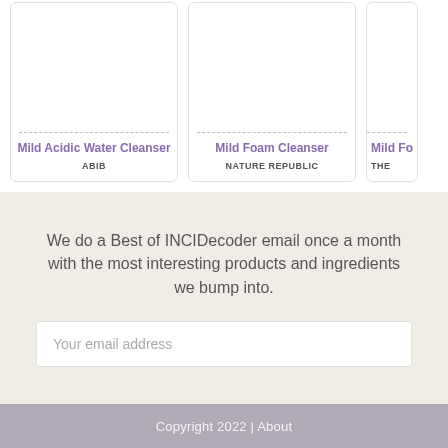Mild Acidic Water Cleanser
ABIB
Mild Foam Cleanser
NATURE REPUBLIC
Mild Fo…
THE …
We do a Best of INCIDecoder email once a month with the most interesting products and ingredients we bump into.
Your email address
Copyright 2022 | About